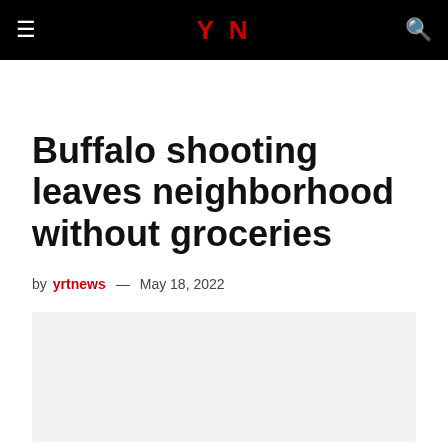YN
Buffalo shooting leaves neighborhood without groceries
by yrtnews — May 18, 2022
[Figure (photo): Light gray image placeholder rectangle below the byline]